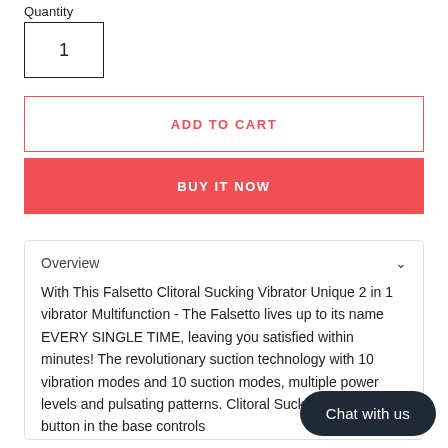Quantity
1
ADD TO CART
BUY IT NOW
Overview
With This Falsetto Clitoral Sucking Vibrator Unique 2 in 1 vibrator Multifunction - The Falsetto lives up to its name EVERY SINGLE TIME, leaving you satisfied within minutes! The revolutionary suction tech with 10 vibration modes and 10 suction m multiple power levels and pulsating pa Clitoral Sucking Vibrator One button in the base controls